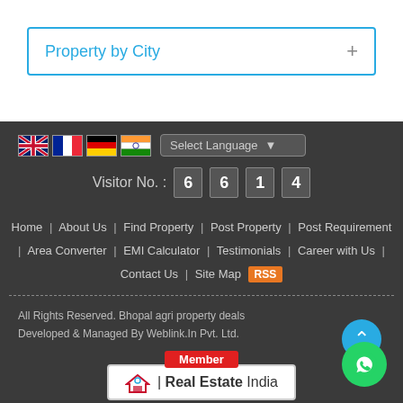Property by City
Select Language | Visitor No. : 6614
Home | About Us | Find Property | Post Property | Post Requirement | Area Converter | EMI Calculator | Testimonials | Career with Us | Contact Us | Site Map RSS
All Rights Reserved. Bhopal agri property deals
Developed & Managed By Weblink.In Pvt. Ltd.
[Figure (logo): Member Real Estate India badge/logo]